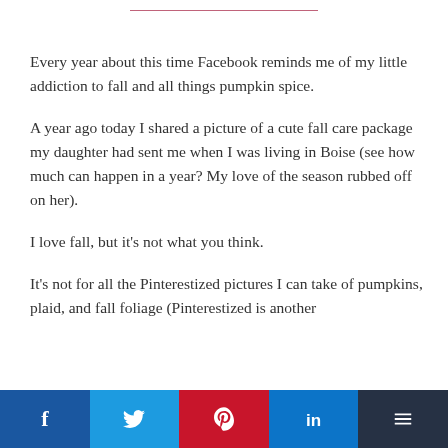Every year about this time Facebook reminds me of my little addiction to fall and all things pumpkin spice.
A year ago today I shared a picture of a cute fall care package my daughter had sent me when I was living in Boise (see how much can happen in a year? My love of the season rubbed off on her).
I love fall, but it's not what you think.
It's not for all the Pinterestized pictures I can take of pumpkins, plaid, and fall foliage (Pinterestized is another
Facebook  Twitter  Pinterest  LinkedIn  Buffer